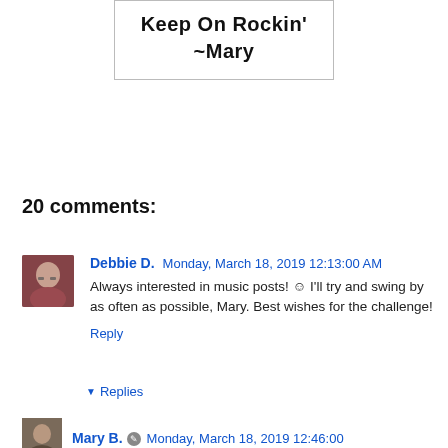[Figure (illustration): Handwritten-style text in a bordered box reading 'Keep On Rockin' on the first line and '~Mary' on the second line, in black marker-style font.]
20 comments:
Debbie D.   Monday, March 18, 2019 12:13:00 AM
Always interested in music posts! ☺ I'll try and swing by as often as possible, Mary. Best wishes for the challenge!
Reply
▼ Replies
Mary B. ✏ Monday, March 18, 2019 12:46:00